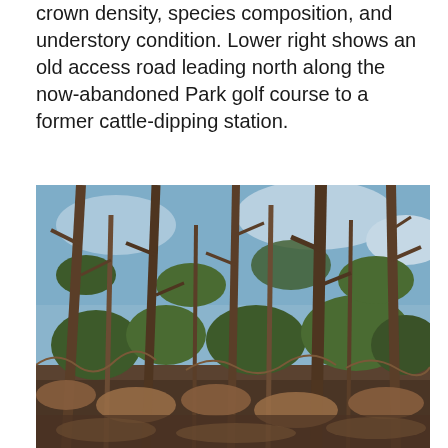crown density, species composition, and understory condition. Lower right shows an old access road leading north along the now-abandoned Park golf course to a former cattle-dipping station.
[Figure (photo): Photograph of a pine forest stand showing tall pine trees with sparse crowns, visible blue sky through the canopy, and dense understory brush with brown dried leaves and vines. The image shows the vertical tree trunks prominently against the sky.]